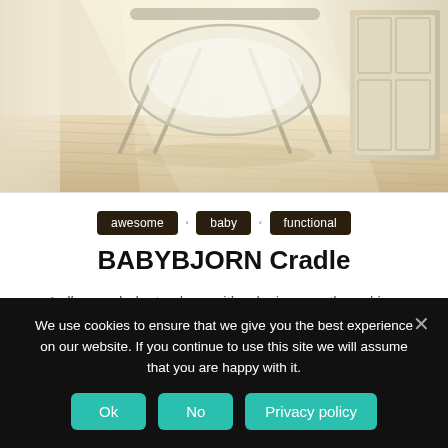[Figure (photo): A baby cradle/bassinet photographed in a bright, sunlit room with wooden floors and light curtains. The cradle has a metal frame, appears translucent/acrylic, with white fabric draped over it.]
awesome
baby
functional
BABYBJORN Cradle
Lulls your baby to sleep with relaxing, gentle rocking movementJPMA Certified Product with low...
We use cookies to ensure that we give you the best experience on our website. If you continue to use this site we will assume that you are happy with it.